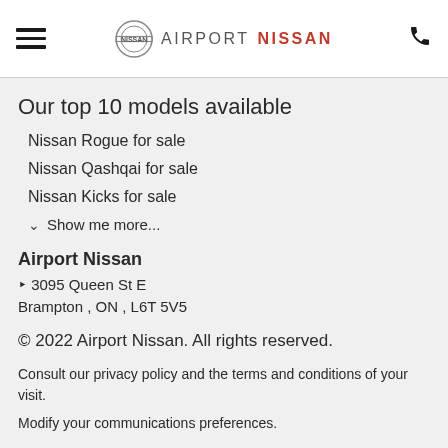Airport Nissan
Our top 10 models available
Nissan Rogue for sale
Nissan Qashqai for sale
Nissan Kicks for sale
Show me more...
Airport Nissan
3095 Queen St E
Brampton , ON , L6T 5V5
© 2022 Airport Nissan. All rights reserved.
Consult our privacy policy and the terms and conditions of your visit.
Modify your communications preferences.